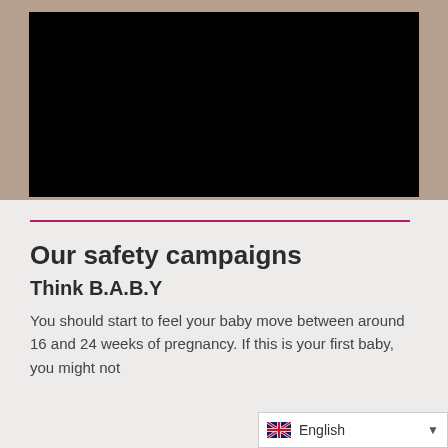[Figure (photo): Black video player screen embedded in a wooden/tan background, appearing as a dark rectangle against a warm brown background]
Our safety campaigns
Think B.A.B.Y
You should start to feel your baby move between around 16 and 24 weeks of pregnancy. If this is your first baby, you might not